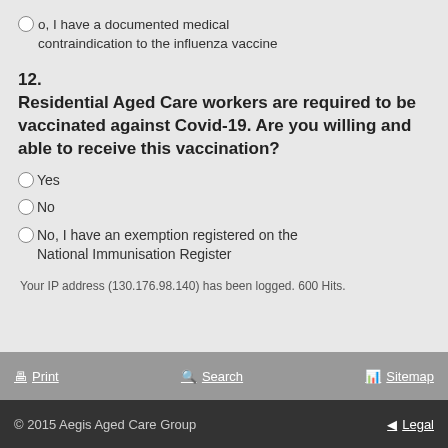No, I have a documented medical contraindication to the influenza vaccine
12.
Residential Aged Care workers are required to be vaccinated against Covid-19. Are you willing and able to receive this vaccination?
Yes
No
No, I have an exemption registered on the National Immunisation Register
Your IP address (130.176.98.140) has been logged. 600 Hits.
Print   Search   Sitemap
© 2015 Aegis Aged Care Group   Legal